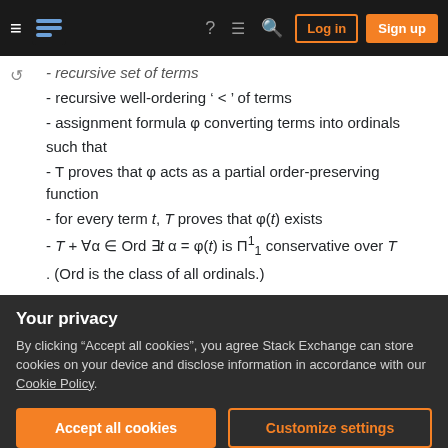Stack Exchange navigation bar with Log in and Sign up buttons
- recursive set of terms
- recursive well-ordering ' < ' of terms
- assignment formula φ converting terms into ordinals
such that
- T proves that φ acts as a partial order-preserving function
- for every term t, T proves that φ(t) exists
- T + ∀α ∈ Ord ∃t α = φ(t) is Π¹₁ conservative over T
. (Ord is the class of all ordinals.)
Question: What is the strongest natural theory for
Your privacy
By clicking "Accept all cookies", you agree Stack Exchange can store cookies on your device and disclose information in accordance with our Cookie Policy.
Accept all cookies | Customize settings